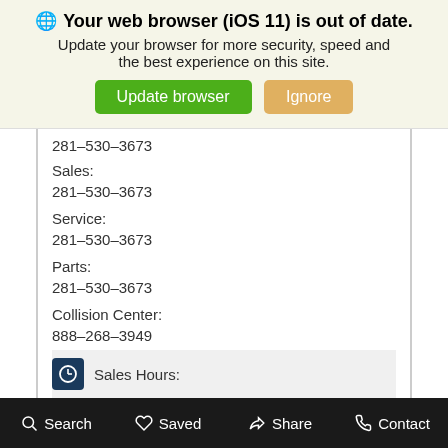[Figure (screenshot): Browser update banner with globe icon, bold warning text, and two buttons: 'Update browser' (green) and 'Ignore' (tan).]
281-530-3673
Sales:
281-530-3673
Service:
281-530-3673
Parts:
281-530-3673
Collision Center:
888-268-3949
Sales Hours:
Mon - Sat
9:00 AM - 8:00 PM
Sun
Closed
Search   Saved   Share   Contact